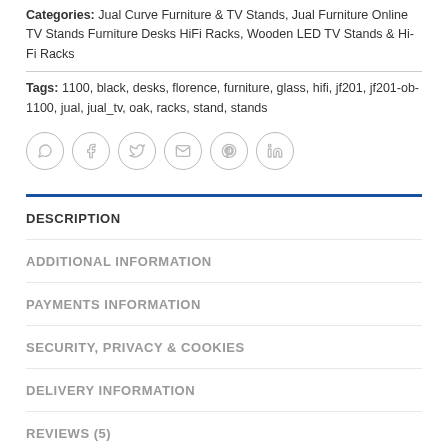Categories: Jual Curve Furniture & TV Stands, Jual Furniture Online TV Stands Furniture Desks HiFi Racks, Wooden LED TV Stands & Hi-Fi Racks
Tags: 1100, black, desks, florence, furniture, glass, hifi, jf201, jf201-ob-1100, jual, jual_tv, oak, racks, stand, stands
[Figure (other): Row of six circular social share icons: WhatsApp, Facebook, Twitter, Email, Pinterest, LinkedIn]
DESCRIPTION
ADDITIONAL INFORMATION
PAYMENTS INFORMATION
SECURITY, PRIVACY & COOKIES
DELIVERY INFORMATION
REVIEWS (5)